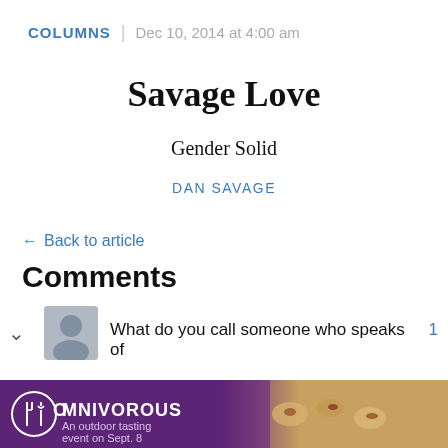COLUMNS | Dec 10, 2014 at 4:00 am
Savage Love
Gender Solid
DAN SAVAGE
← Back to article
Comments
What do you call someone who speaks of
[Figure (other): OMNIVOROUS ad banner — purple background with fork/knife icon in circle, text 'OMNIVOROUS An outdoor tasting event on Sept. 8', food photo on right]